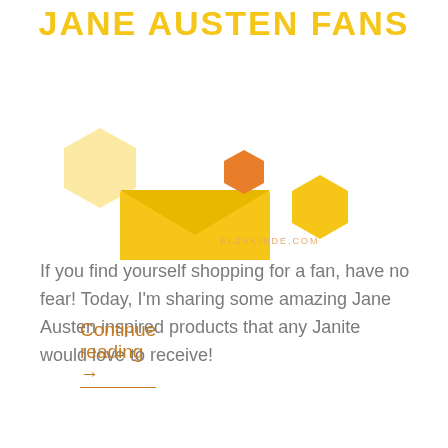JANE AUSTEN FANS
[Figure (illustration): Decorative honeycomb/hexagon shapes and envelope in yellow and orange tones, with ELZAKINDE.COM watermark]
If you find yourself shopping for a fan, have no fear! Today, I'm sharing some amazing Jane Austen inspired products that any Janite would love to receive!
Continue reading →